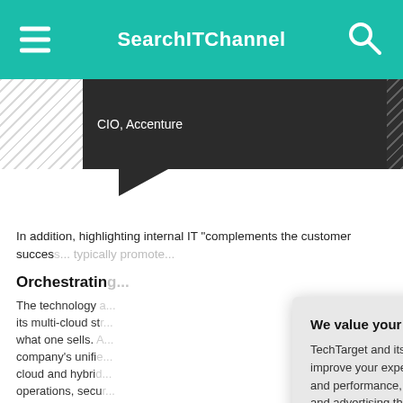SearchITChannel
CIO, Accenture
In addition, highlighting internal IT "complements the customer success... typically promote...
Orchestratin...
The technology... its multi-cloud st... what one sells. A... company's unified... cloud and hybrid... operations, secu... governance.
We value your privacy. TechTarget and its partners employ cookies to improve your experience on our site, to analyze traffic and performance, and to serve personalized content and advertising that are relevant to your professional interests. You can manage your settings at any time. Please view our Privacy Policy for more information